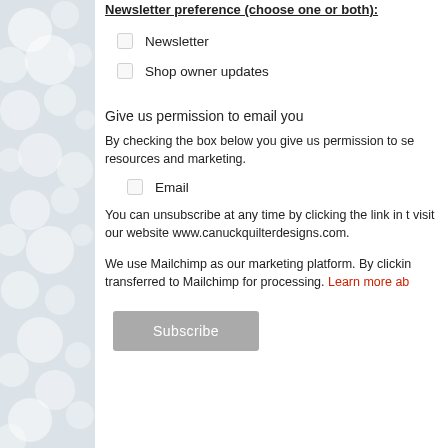Newsletter preference (choose one or both):
Newsletter
Shop owner updates
Give us permission to email you
By checking the box below you give us permission to send you resources and marketing.
Email
You can unsubscribe at any time by clicking the link in the footer of our emails. For information about our privacy practices, please visit our website www.canuckquilterdesigns.com.
We use Mailchimp as our marketing platform. By clicking below to subscribe, you acknowledge that your information will be transferred to Mailchimp for processing. Learn more about Mailchimp's privacy practices here.